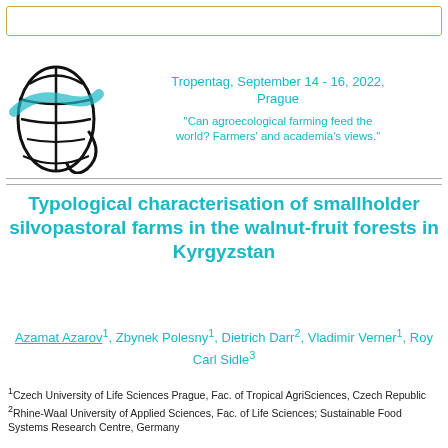Tropentag, September 14 - 16, 2022, Prague
"Can agroecological farming feed the world? Farmers' and academia's views."
[Figure (logo): Tropentag globe logo with teal swoosh]
Typological characterisation of smallholder silvopastoral farms in the walnut-fruit forests in Kyrgyzstan
Azamat Azarov1, Zbynek Polesny1, Dietrich Darr2, Vladimir Verner1, Roy Carl Sidle3
1Czech University of Life Sciences Prague, Fac. of Tropical AgriSciences, Czech Republic
2Rhine-Waal University of Applied Sciences, Fac. of Life Sciences; Sustainable Food Systems Research Centre, Germany